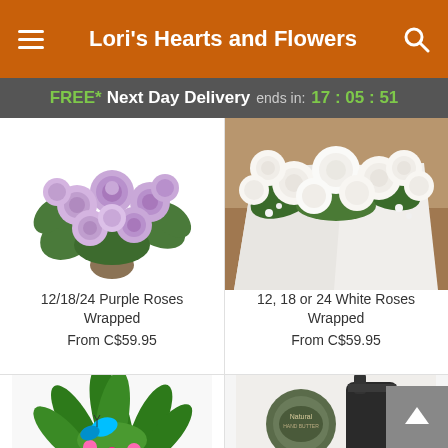Lori's Hearts and Flowers
FREE* Next Day Delivery ends in: 17:05:51
[Figure (photo): Bouquet of purple/lavender roses wrapped, on white background]
[Figure (photo): 12 white roses wrapped in white paper on wooden table]
12/18/24 Purple Roses Wrapped
From C$59.95
12, 18 or 24 White Roses Wrapped
From C$59.95
[Figure (photo): Green tropical plant arrangement with pink flowers and blue butterfly decoration]
[Figure (photo): Natural beauty/skincare products - tin and pump bottle]